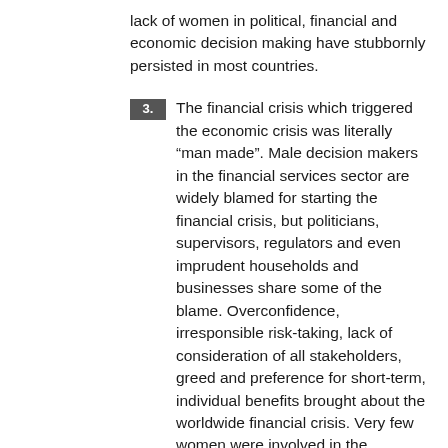lack of women in political, financial and economic decision making have stubbornly persisted in most countries.
3. The financial crisis which triggered the economic crisis was literally “man made”. Male decision makers in the financial services sector are widely blamed for starting the financial crisis, but politicians, supervisors, regulators and even imprudent households and businesses share some of the blame. Overconfidence, irresponsible risk-taking, lack of consideration of all stakeholders, greed and preference for short-term, individual benefits brought about the worldwide financial crisis. Very few women were involved in the decision-making processes which led to the financial crisis, because very few women held decision-making positions. Therefore, there is ample reason to question the lack of women’s participation in the decisions which led to the crisis and to involve them more in future decision making.
4. Most experts agree that the financial crisis could